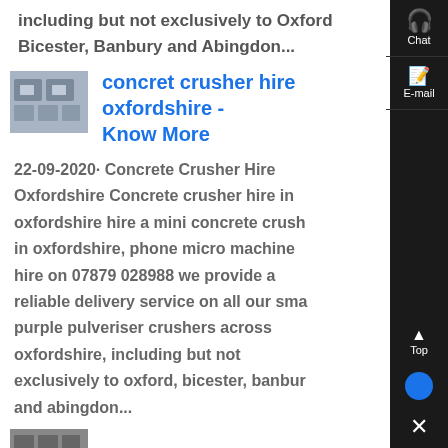including but not exclusively to Oxford, Bicester, Banbury and Abingdon...
[Figure (photo): Thumbnail image of concrete crushing machinery]
concret crusher hire oxfordshire - Know More
22-09-2020· Concrete Crusher Hire Oxfordshire Concrete crusher hire in oxfordshire hire a mini concrete crush in oxfordshire, phone micro machine hire on 07879 028988 we provide a reliable delivery service on all our small purple pulveriser crushers across oxfordshire, including but not exclusively to oxford, bicester, banbury and abingdon...
[Figure (photo): Thumbnail image at bottom of page]